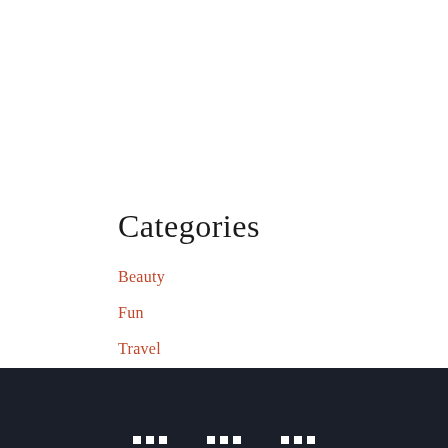Categories
Beauty
Fun
Travel
Uncategorized